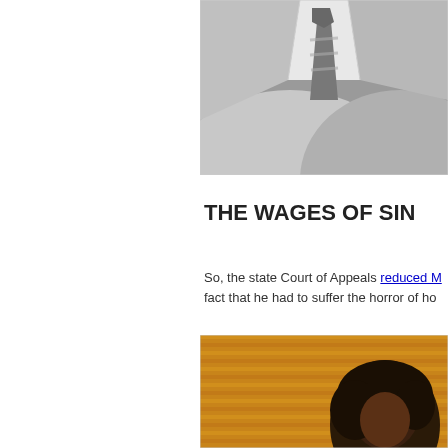[Figure (photo): Black and white photo showing a close-up of a person's torso wearing a suit jacket and striped tie]
THE WAGES OF SIN
So, the state Court of Appeals reduced M... fact that he had to suffer the horror of ho...
[Figure (photo): Color photo with warm amber tones showing a person with dark hair against a background with horizontal lines (blinds)]